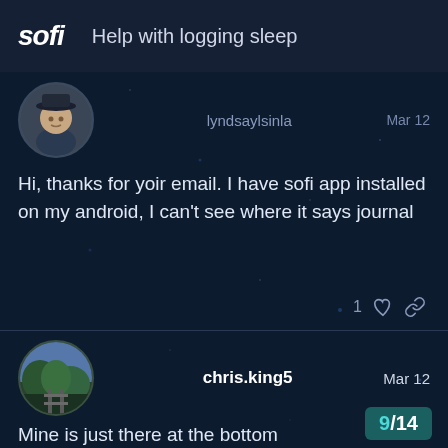sofi  Help with logging sleep
lyndsaylsinla  Mar 12
Hi, thanks for yoir email. I have sofi app installed on my android, I can't see where it says journal
chris.king5  Mar 12
Mine is just there at the bottom
9/14